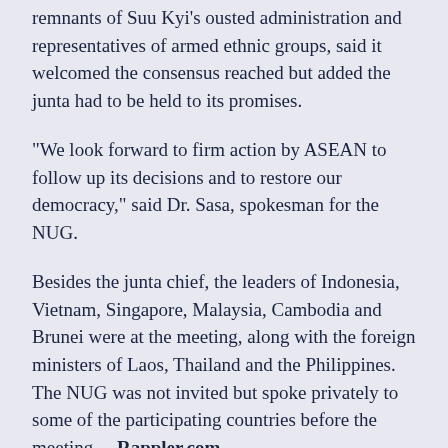(...), [text cut off] remnants of Suu Kyi's ousted administration and representatives of armed ethnic groups, said it welcomed the consensus reached but added the junta had to be held to its promises.
“We look forward to firm action by ASEAN to follow up its decisions and to restore our democracy,” said Dr. Sasa, spokesman for the NUG.
Besides the junta chief, the leaders of Indonesia, Vietnam, Singapore, Malaysia, Cambodia and Brunei were at the meeting, along with the foreign ministers of Laos, Thailand and the Philippines. The NUG was not invited but spoke privately to some of the participating countries before the meeting. – Rappler.com